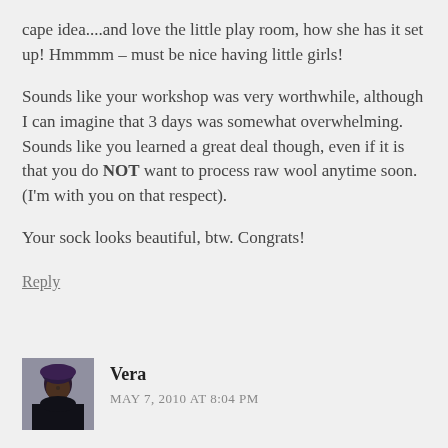cape idea....and love the little play room, how she has it set up! Hmmmm - must be nice having little girls!
Sounds like your workshop was very worthwhile, although I can imagine that 3 days was somewhat overwhelming. Sounds like you learned a great deal though, even if it is that you do NOT want to process raw wool anytime soon. (I'm with you on that respect).
Your sock looks beautiful, btw. Congrats!
Reply
Vera
MAY 7, 2010 AT 8:04 PM